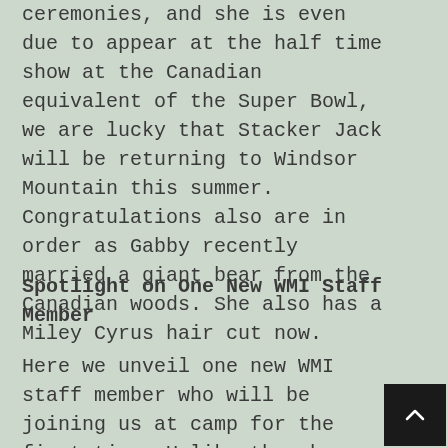ceremonies, and she is even due to appear at the half time show at the Canadian equivalent of the Super Bowl, we are lucky that Stacker Jack will be returning to Windsor Mountain this summer. Congratulations also are in order as Gabby recently married a giant bear from the Canadian woods. She also has a Miley Cyrus hair cut now.
Spotlight on One New WMI Staff Member
Here we unveil one new WMI staff member who will be joining us at camp for the first time. Unlike the above information,